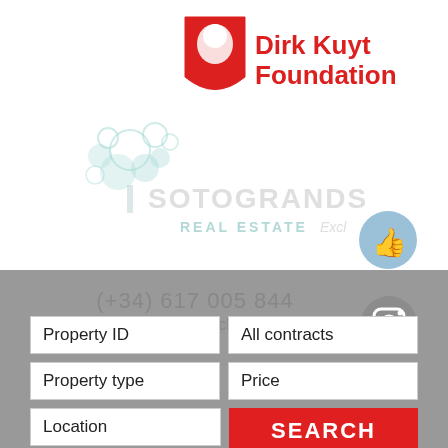[Figure (logo): Dirk Kuyt Foundation logo - red shield with face silhouette and red text]
[Figure (logo): Sotogrande Real Estate Exclusive watermark logo in light teal/gray]
(+34) 617 005 844
info@sotograndexclusive.com
| Property ID | All contracts |
| Property type | Price |
| Location | SEARCH |